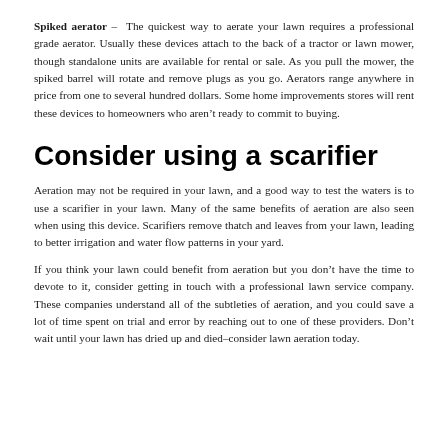Spiked aerator – The quickest way to aerate your lawn requires a professional grade aerator. Usually these devices attach to the back of a tractor or lawn mower, though standalone units are available for rental or sale. As you pull the mower, the spiked barrel will rotate and remove plugs as you go. Aerators range anywhere in price from one to several hundred dollars. Some home improvements stores will rent these devices to homeowners who aren't ready to commit to buying.
Consider using a scarifier
Aeration may not be required in your lawn, and a good way to test the waters is to use a scarifier in your lawn. Many of the same benefits of aeration are also seen when using this device. Scarifiers remove thatch and leaves from your lawn, leading to better irrigation and water flow patterns in your yard.
If you think your lawn could benefit from aeration but you don't have the time to devote to it, consider getting in touch with a professional lawn service company. These companies understand all of the subtleties of aeration, and you could save a lot of time spent on trial and error by reaching out to one of these providers. Don't wait until your lawn has dried up and died–consider lawn aeration today.